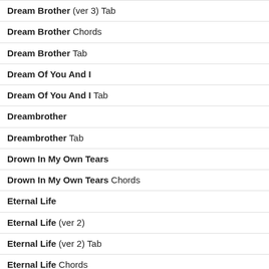Dream Brother (ver 3) Tab
Dream Brother Chords
Dream Brother Tab
Dream Of You And I
Dream Of You And I Tab
Dreambrother
Dreambrother Tab
Drown In My Own Tears
Drown In My Own Tears Chords
Eternal Life
Eternal Life (ver 2)
Eternal Life (ver 2) Tab
Eternal Life Chords
Eternal Life Live
Eternal Life Live Tab
Eternal Life Tab
Everybody Here Wants You
Everybody Here Wants You Chords
Everybody Here Wants You Tab
Forget Her